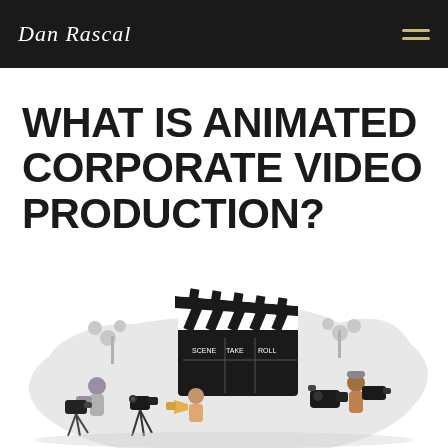Dan Rascal
WHAT IS ANIMATED CORPORATE VIDEO PRODUCTION?
[Figure (illustration): Flat-style illustration of a video production scene: people operating film cameras and clapperboards on a light grey blob-shaped background with plants, in black, white, and grey tones.]